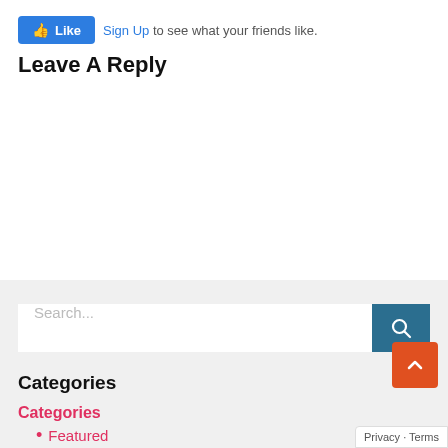[Figure (screenshot): Facebook Like button with thumbs up icon, blue background, white text 'Like', followed by 'Sign Up to see what your friends like.' in gray with Sign Up in blue link color]
Leave A Reply
[Figure (screenshot): Search bar with placeholder text 'Search...' and a dark teal search button with magnifying glass icon on the right]
Categories
Categories
Featured